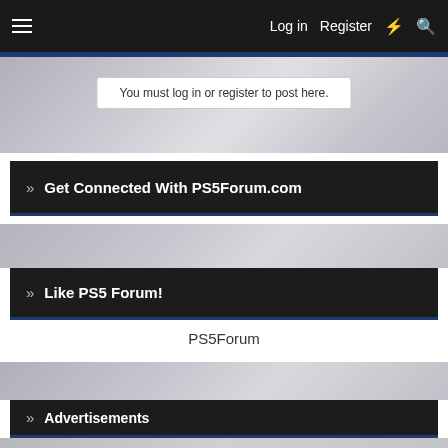Log in   Register
You must log in or register to post here.
» Get Connected With PS5Forum.com
[Figure (photo): Blurred background banner image]
» Like PS5 Forum!
PS5Forum
[Figure (photo): Blurred background banner image]
» Advertisements
[Figure (photo): Blurred background banner image at bottom]
Playstation Other Systems